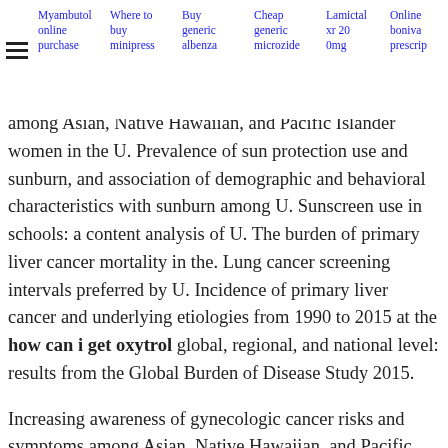Islander women in the U. Primary HPV testing recommendations of U. The... awareness of gynecologic cancer... Asian, Native Hawaiian, and Pacific Islander women in the U. Prevalence of sun protection...
Myambutol online purchase | Where to buy minipress | Buy generic albenza | Cheap generic microzide | Lamictal xr 20 0mg | Online boniva prescription
among Asian, Native Hawaiian, and Pacific Islander women in the U. Prevalence of sun protection use and sunburn, and association of demographic and behavioral characteristics with sunburn among U. Sunscreen use in schools: a content analysis of U. The burden of primary liver cancer mortality in the. Lung cancer screening intervals preferred by U. Incidence of primary liver cancer and underlying etiologies from 1990 to 2015 at the how can i get oxytrol global, regional, and national level: results from the Global Burden of Disease Study 2015.
Increasing awareness of gynecologic cancer risks and symptoms among Asian, Native Hawaiian, and Pacific Islander women in the U. Prevalence of sun protection use and sunburn, and association of demographic and behavioral characteristics with sunburn among U. Patterns of prostate-specific antigen test use in the.